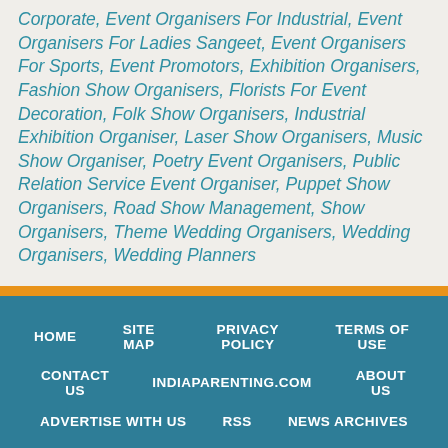Corporate, Event Organisers For Industrial, Event Organisers For Ladies Sangeet, Event Organisers For Sports, Event Promotors, Exhibition Organisers, Fashion Show Organisers, Florists For Event Decoration, Folk Show Organisers, Industrial Exhibition Organiser, Laser Show Organisers, Music Show Organiser, Poetry Event Organisers, Public Relation Service Event Organiser, Puppet Show Organisers, Road Show Management, Show Organisers, Theme Wedding Organisers, Wedding Organisers, Wedding Planners
HOME   SITE MAP   PRIVACY POLICY   TERMS OF USE   CONTACT US   INDIAPARENTING.COM   ABOUT US   ADVERTISE WITH US   RSS   NEWS ARCHIVES
Copyright (c) 1999 - 2015 India Parenting Pvt. Ltd.